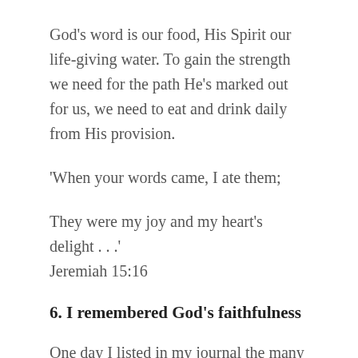God's word is our food, His Spirit our life-giving water. To gain the strength we need for the path He's marked out for us, we need to eat and drink daily from His provision.
'When your words came, I ate them;
They were my joy and my heart's delight . . .' Jeremiah 15:16
6. I remembered God's faithfulness
One day I listed in my journal the many trials of my past, each one so difficult I'd wondered if they would ever end. I remembered what God did, the profound truths He taught me and the way He led me all the